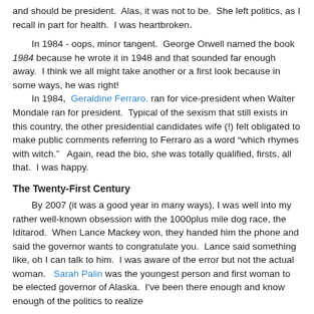and should be president.  Alas, it was not to be.  She left politics, as I recall in part for health.  I was heartbroken.
In 1984 - oops, minor tangent.  George Orwell named the book 1984 because he wrote it in 1948 and that sounded far enough away.  I think we all might take another or a first look because in some ways, he was right!  In 1984,  Geraldine Ferraro, ran for vice-president when Walter Mondale ran for president.  Typical of the sexism that still exists in this country, the other presidential candidates wife (!) felt obligated to make public comments referring to Ferraro as a word "which rhymes with witch."   Again, read the bio, she was totally qualified, firsts, all that.  I was happy.
The Twenty-First Century
By 2007 (it was a good year in many ways), I was well into my rather well-known obsession with the 1000plus mile dog race, the Iditarod.  When Lance Mackey won, they handed him the phone and said the governor wants to congratulate you.  Lance said something like, oh I can talk to him.  I was aware of the error but not the actual woman.   Sarah Palin was the youngest person and first woman to be elected governor of Alaska.  I've been there enough and know enough of the politics to realize